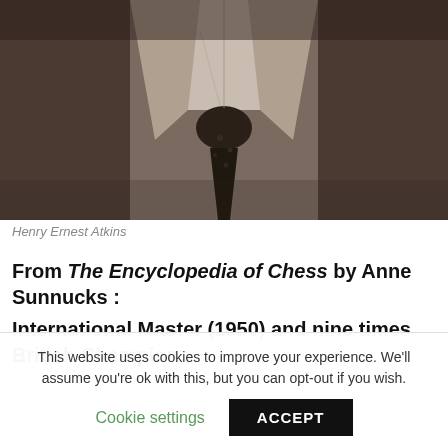[Figure (photo): Black and white vintage close-up photograph of a man's torso showing a dark suit jacket, white shirt collar, and dark patterned tie. The face is cropped out; only the neck and chest area are visible.]
Henry Ernest Atkins
From The Encyclopedia of Chess by Anne Sunnucks :
International Master (1950) and nine times British Champion.
This website uses cookies to improve your experience. We'll assume you're ok with this, but you can opt-out if you wish.